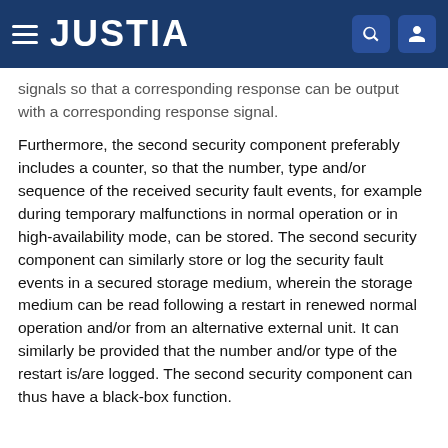JUSTIA
signals so that a corresponding response can be output with a corresponding response signal.
Furthermore, the second security component preferably includes a counter, so that the number, type and/or sequence of the received security fault events, for example during temporary malfunctions in normal operation or in high-availability mode, can be stored. The second security component can similarly store or log the security fault events in a secured storage medium, wherein the storage medium can be read following a restart in renewed normal operation and/or from an alternative external unit. It can similarly be provided that the number and/or type of the restart is/are logged. The second security component can thus have a black-box function.